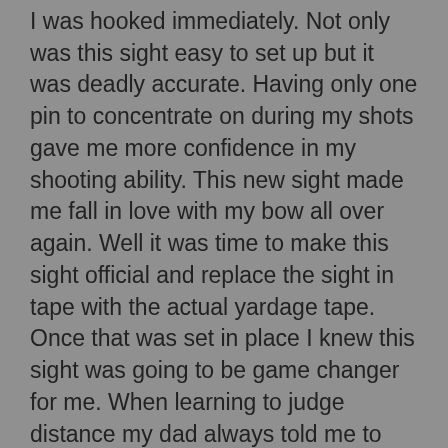I was hooked immediately. Not only was this sight easy to set up but it was deadly accurate. Having only one pin to concentrate on during my shots gave me more confidence in my shooting ability. This new sight made me fall in love with my bow all over again. Well it was time to make this sight official and replace the sight in tape with the actual yardage tape. Once that was set in place I knew this sight was going to be game changer for me. When learning to judge distance my dad always told me to get settled in to wherever I would be sitting and sight in on everything I could within ethical shooting distances so I knew where I needed to be when it came time to make my shot. Keeping that in mind I knew this would be an easy adjustment and make bow hunting a lot less unnerving. Whether you are a bow hunter or not this sight is great for accuracy. With a quick turn of the dial my bow is set to the exact